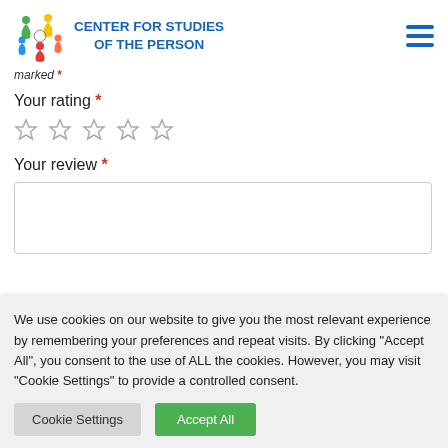CENTER FOR STUDIES OF THE PERSON
marked *
Your rating *
[Figure (other): Five empty star rating icons]
Your review *
[Figure (other): Empty text area input box for review]
We use cookies on our website to give you the most relevant experience by remembering your preferences and repeat visits. By clicking "Accept All", you consent to the use of ALL the cookies. However, you may visit "Cookie Settings" to provide a controlled consent.
Cookie Settings | Accept All